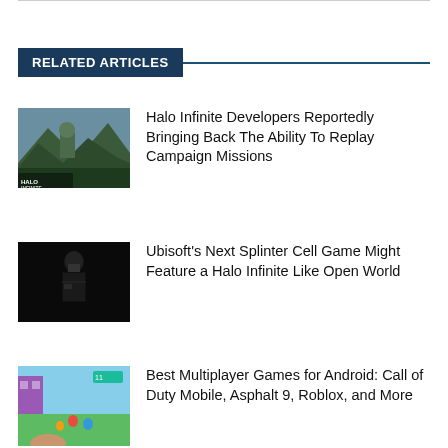RELATED ARTICLES
[Figure (photo): Halo Infinite game cover art showing armored character in a green landscape with mountains]
Halo Infinite Developers Reportedly Bringing Back The Ability To Replay Campaign Missions
[Figure (photo): Dark image of a character in tactical gear, possibly Sam Fisher from Splinter Cell]
Ubisoft’s Next Splinter Cell Game Might Feature a Halo Infinite Like Open World
[Figure (photo): Mobile game screenshot showing colorful multiplayer game with characters on a green field]
Best Multiplayer Games for Android: Call of Duty Mobile, Asphalt 9, Roblox, and More